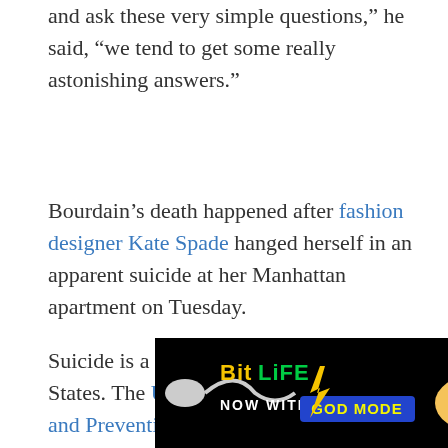and ask these very simple questions," he said, "we tend to get some really astonishing answers."
Bourdain's death happened after fashion designer Kate Spade hanged herself in an apparent suicide at her Manhattan apartment on Tuesday.
Suicide is a growing problem in the United States. The US Centers for Disease Control and Prevention published a survey Thursday showing suicide rates increased by
[Figure (screenshot): BitLife advertisement banner: 'NOW WITH GOD MODE' with animated hand pointing graphic, close button in top right corner]